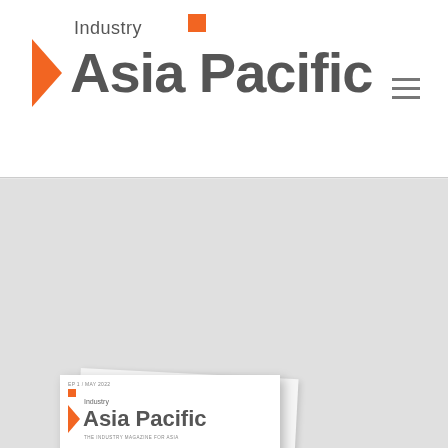[Figure (logo): Industry Asia Pacific magazine logo with orange chevron and orange square accent, on white background with hamburger menu icon]
[Figure (screenshot): Industry Asia Pacific magazine cover thumbnail (edition Q1/May 2022) showing oscilloscope equipment, networking router, industrial gears/chain, and a turret/motor, with article teasers and page numbers 6, 8, 20, 34]